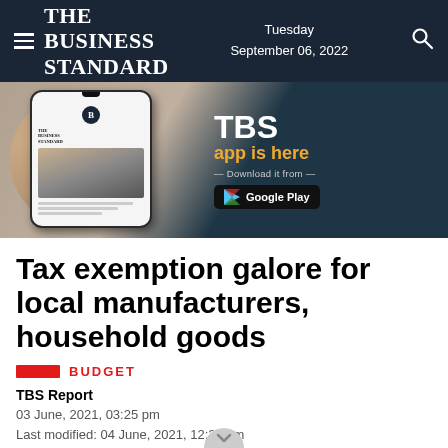The Business Standard — Tuesday September 06, 2022
[Figure (illustration): Advertisement banner for TBS app showing a hand holding a smartphone with The Business Standard app. Right side shows 'TBS app is here — Download it from — Google Play' in dark teal background.]
Tax exemption galore for local manufacturers, household goods
BUDGET
TBS Report
03 June, 2021, 03:25 pm
Last modified: 04 June, 2021, 12:29 am